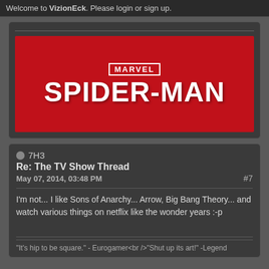Welcome to VizionEck. Please login or sign up.
[Figure (illustration): Marvel's Spider-Man logo on a red background. Shows MARVEL badge at top and large SPIDER-MAN text below.]
7H3
Re: The TV Show Thread
May 07, 2014, 03:48 PM
#7
I'm not... I like Sons of Anarchy... Arrow, Big Bang Theory... and watch various things on netflix like the wonder years :-p
"It's hip to be square." - Eurogamer<br />"Shut up its art!" -Legend